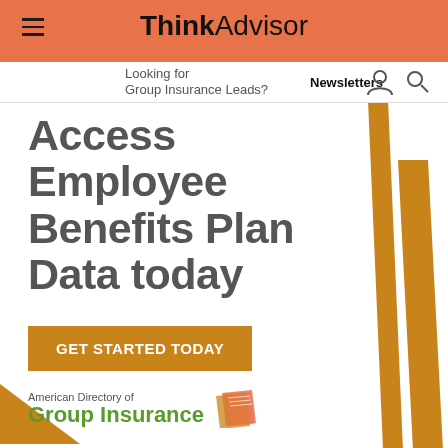ThinkAdvisor
Looking for Group Insurance Leads?
Newsletters
Access Employee Benefits Plan Data today
GET STARTED TODAY
American Directory of Group Insurance